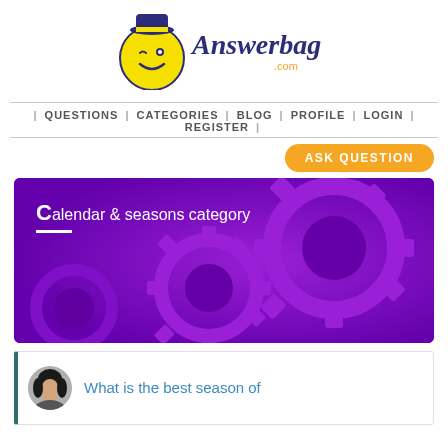[Figure (logo): Answerbag.com logo with a winking smiley face character and stylized text]
| QUESTIONS | CATEGORIES | BLOG | PROFILE | LOGIN | REGISTER |
ASK QUESTION
[Figure (illustration): Purple banner with gears/cogs illustration and text: Calendar & seasons category]
What is the best season of